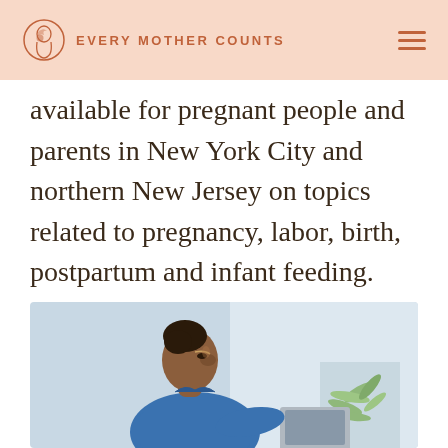EVERY MOTHER COUNTS
available for pregnant people and parents in New York City and northern New Jersey on topics related to pregnancy, labor, birth, postpartum and infant feeding.
[Figure (photo): A woman of color in a blue denim shirt sitting in profile view, looking at a laptop screen, with a green plant visible in the background. The setting appears to be a bright, indoor environment.]